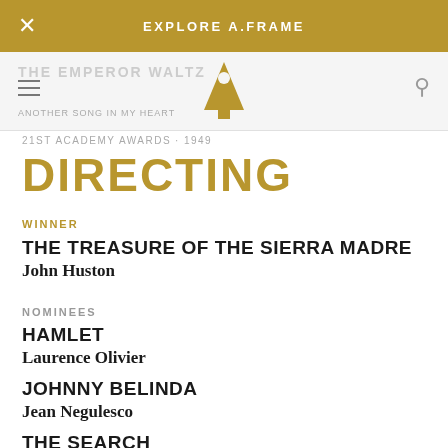EXPLORE A.FRAME
DIRECTING
WINNER
THE TREASURE OF THE SIERRA MADRE
John Huston
NOMINEES
HAMLET
Laurence Olivier
JOHNNY BELINDA
Jean Negulesco
THE SEARCH
Fred Zinnemann
THE SNAKE PIT
Anatole Litvak